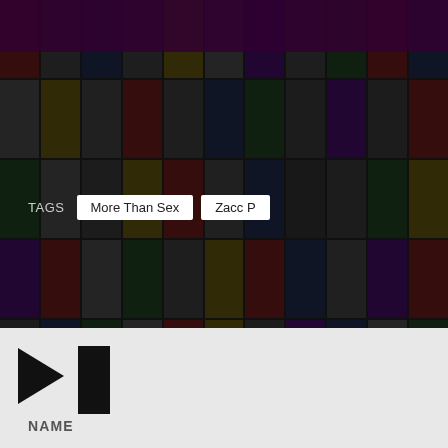[Figure (photo): Background collage of hip-hop album covers arranged in a grid, appearing dark and semi-transparent]
TAGS   More Than Sex   Zacc P
LEAVE A REPLY
Your email address will not be published. Required fields are marked *
COMMENT *
[Figure (other): Music player bar at the bottom with play button (triangle), progress bar rectangle, and NAME label]